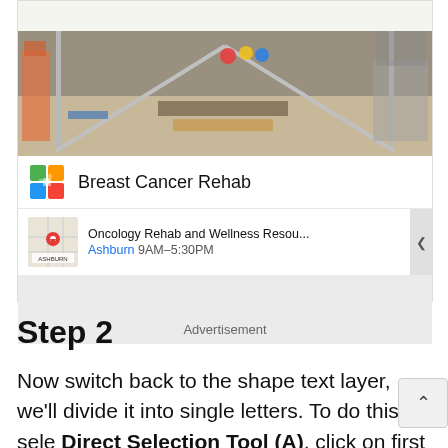[Figure (screenshot): Advertisement block showing a physical therapy gym with parallel bars, followed by a Breast Cancer Rehab listing with colorful logo, and an Oncology Rehab and Wellness Resources listing with map thumbnail, Ashburn 9AM-5:30PM, and a gray advertisement area at the bottom labeled 'Advertisement'.]
Step 2
Now switch back to the shape text layer, we'll divide it into single letters. To do this, sele Direct Selection Tool (A), click on first letter